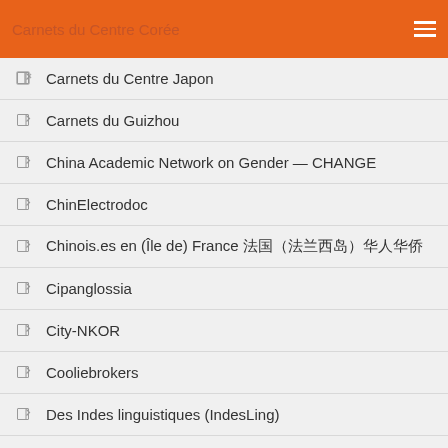Carnets du Centre Corée
Carnets du Centre Japon
Carnets du Guizhou
China Academic Network on Gender — CHANGE
ChinElectrodoc
Chinois.es en (Île de) France 法国（法兰西岛）华人华侨
Cipanglossia
City-NKOR
Cooliebrokers
Des Indes linguistiques (IndesLing)